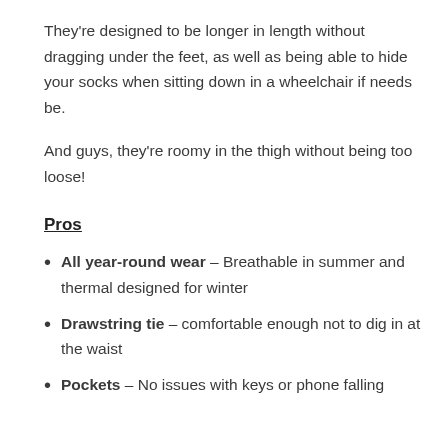They're designed to be longer in length without dragging under the feet, as well as being able to hide your socks when sitting down in a wheelchair if needs be.
And guys, they're roomy in the thigh without being too loose!
Pros
All year-round wear – Breathable in summer and thermal designed for winter
Drawstring tie – comfortable enough not to dig in at the waist
Pockets – No issues with keys or phone falling